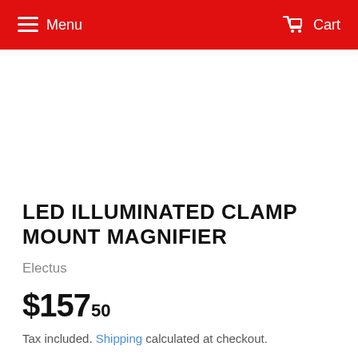Menu   Cart
LED ILLUMINATED CLAMP MOUNT MAGNIFIER
Electus
$157.50
Tax included. Shipping calculated at checkout.
ADD TO CART